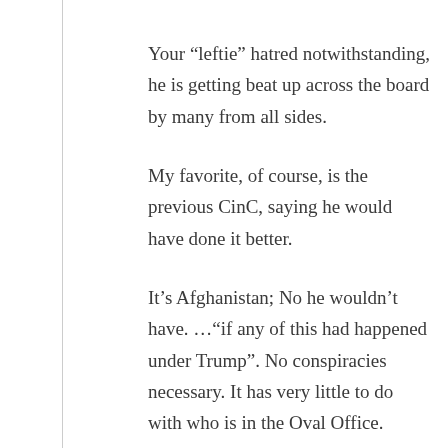Your “leftie” hatred notwithstanding, he is getting beat up across the board by many from all sides.
My favorite, of course, is the previous CinC, saying he would have done it better.
It’s Afghanistan; No he wouldn’t have. …“if any of this had happened under Trump”. No conspiracies necessary. It has very little to do with who is in the Oval Office. Similar to gas prices, there are just some things that are destined to happen the way they do.